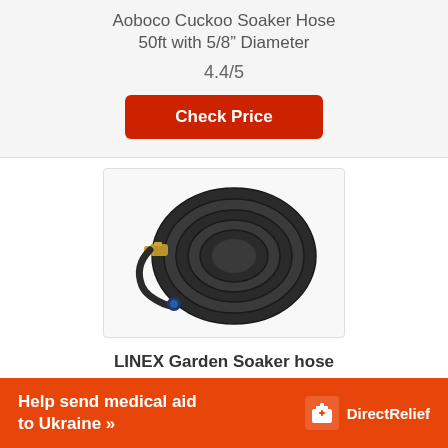Aoboco Cuckoo Soaker Hose 50ft with 5/8" Diameter
4.4/5
Check Price
[Figure (photo): Coiled black soaker hose with brass fittings on a white background]
LINEX Garden Soaker hose
4.3/5
Check Price
Help send medical aid to Ukraine >> DirectRelief